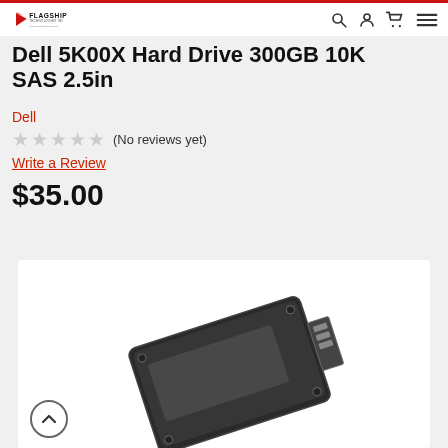Flagship Technologies - Navigation bar
Dell 5K00X Hard Drive 300GB 10K SAS 2.5in
Dell
(No reviews yet)
Write a Review
$35.00
[Figure (photo): Photo of a Dell 2.5in SAS hard drive, shown at an angle on a white background]